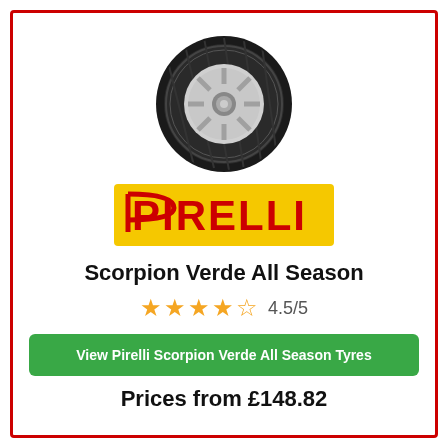[Figure (photo): Pirelli Scorpion Verde All Season tyre viewed from a front-side angle, black rubber with silver rim visible]
[Figure (logo): Pirelli logo: yellow rectangle background with red PIRELLI text and stylized P mark]
Scorpion Verde All Season
4.5/5 star rating
View Pirelli Scorpion Verde All Season Tyres
Prices from £148.82